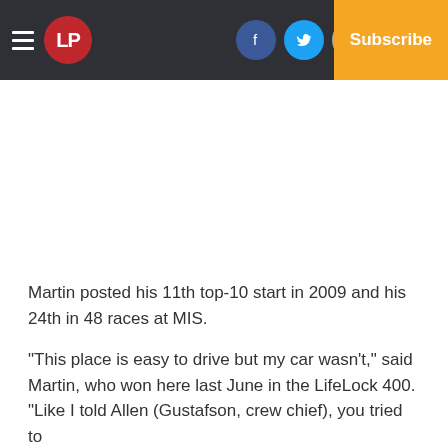LP | Log In | Subscribe
Martin posted his 11th top-10 start in 2009 and his 24th in 48 races at MIS.
“This place is easy to drive but my car wasn’t,” said Martin, who won here last June in the LifeLock 400. “Like I told Allen (Gustafson, crew chief), you tried to